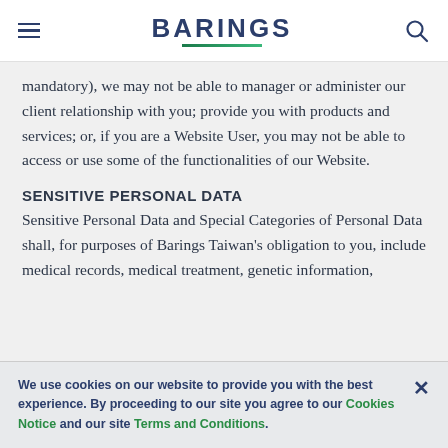BARINGS
mandatory), we may not be able to manager or administer our client relationship with you; provide you with products and services; or, if you are a Website User, you may not be able to access or use some of the functionalities of our Website.
SENSITIVE PERSONAL DATA
Sensitive Personal Data and Special Categories of Personal Data shall, for purposes of Barings Taiwan's obligation to you, include medical records, medical treatment, genetic information,
We use cookies on our website to provide you with the best experience. By proceeding to our site you agree to our Cookies Notice and our site Terms and Conditions.